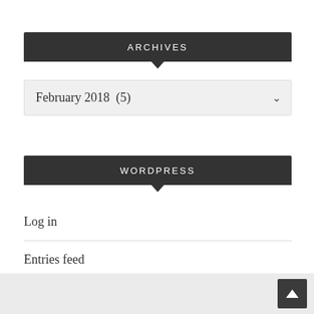ARCHIVES
February 2018  (5)
WORDPRESS
Log in
Entries feed
Comments feed
WordPress.org